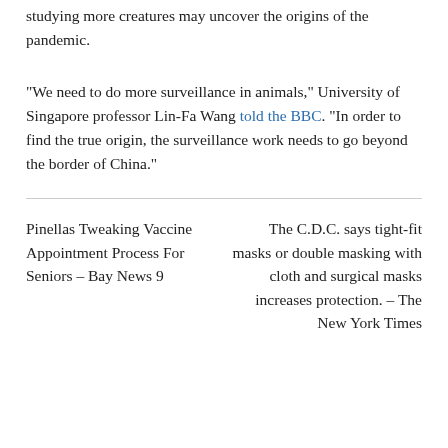studying more creatures may uncover the origins of the pandemic.
“We need to do more surveillance in animals,” University of Singapore professor Lin-Fa Wang told the BBC. “In order to find the true origin, the surveillance work needs to go beyond the border of China.”
Pinellas Tweaking Vaccine Appointment Process For Seniors – Bay News 9
The C.D.C. says tight-fit masks or double masking with cloth and surgical masks increases protection. – The New York Times